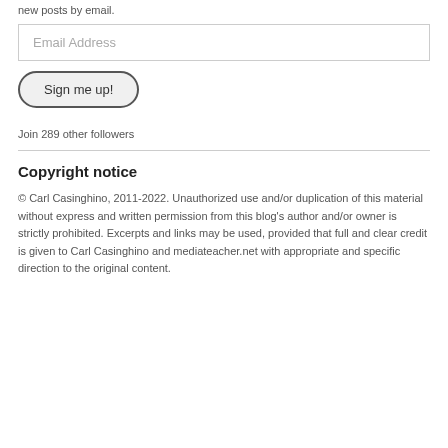new posts by email.
Email Address
Sign me up!
Join 289 other followers
Copyright notice
© Carl Casinghino, 2011-2022. Unauthorized use and/or duplication of this material without express and written permission from this blog's author and/or owner is strictly prohibited. Excerpts and links may be used, provided that full and clear credit is given to Carl Casinghino and mediateacher.net with appropriate and specific direction to the original content.